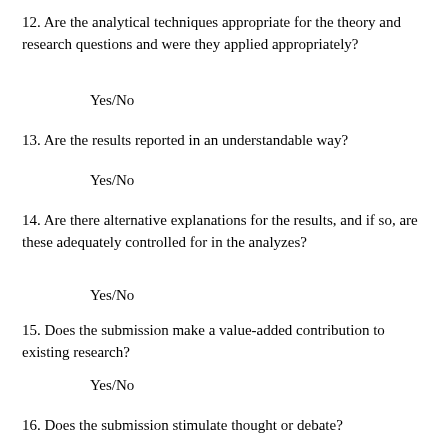12. Are the analytical techniques appropriate for the theory and research questions and were they applied appropriately?
Yes/No
13. Are the results reported in an understandable way?
Yes/No
14. Are there alternative explanations for the results, and if so, are these adequately controlled for in the analyzes?
Yes/No
15. Does the submission make a value-added contribution to existing research?
Yes/No
16. Does the submission stimulate thought or debate?